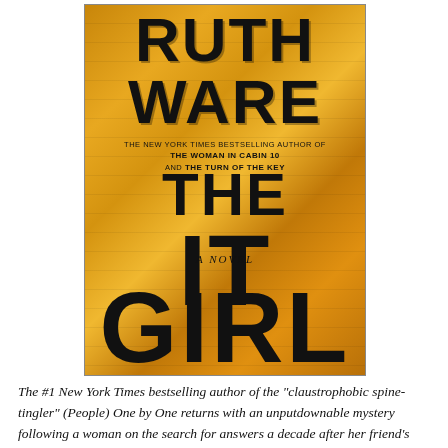[Figure (illustration): Book cover of 'The It Girl' by Ruth Ware. Gold/amber textured background with large bold black text. Author name 'RUTH WARE' at top in very large black letters. Below: 'THE NEW YORK TIMES BESTSELLING AUTHOR OF THE WOMAN IN CABIN 10 AND THE TURN OF THE KEY'. Title 'THE IT GIRL' in massive bold black letters with distressed/glitch effect. 'A NOVEL' in italic text in the middle. Published as a novel.]
The #1 New York Times bestselling author of the "claustrophobic spine-tingler" (People) One by One returns with an unputdownable mystery following a woman on the search for answers a decade after her friend's murder